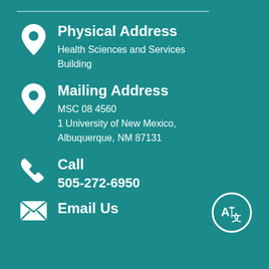Physical Address
Health Sciences and Services Building
Mailing Address
MSC 08 4560
1 University of New Mexico,
Albuquerque, NM 87131
Call
505-272-6950
Email Us